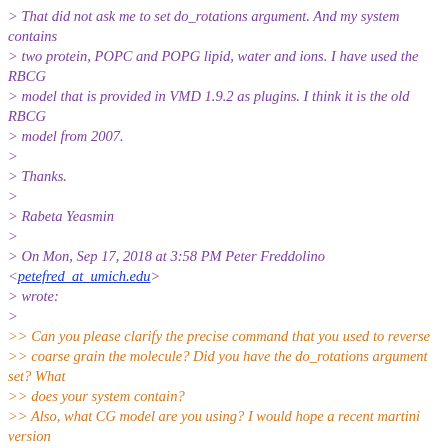> That did not ask me to set do_rotations argument. And my system contains
> two protein, POPC and POPG lipid, water and ions. I have used the RBCG
> model that is provided in VMD 1.9.2 as plugins. I think it is the old RBCG
> model from 2007.
>
> Thanks.
>
> Rabeta Yeasmin
>
> On Mon, Sep 17, 2018 at 3:58 PM Peter Freddolino <petefred_at_umich.edu> wrote:
>
>> Can you please clarify the precise command that you used to reverse
>> coarse grain the molecule? Did you have the do_rotations argument set? What
>> does your system contain?
>> Also, what CG model are you using? I would hope a recent martini version
>> and not the old RBCG model from 2007, unless you're trying to precisely
>> reproduce one of those old papers.